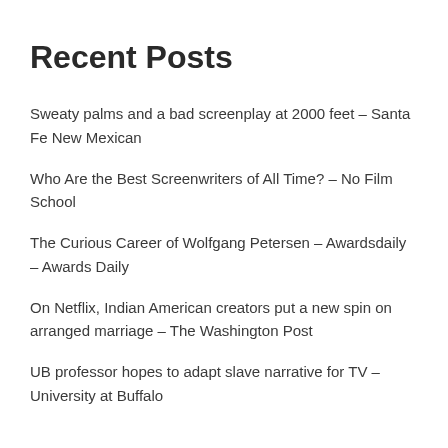Recent Posts
Sweaty palms and a bad screenplay at 2000 feet – Santa Fe New Mexican
Who Are the Best Screenwriters of All Time? – No Film School
The Curious Career of Wolfgang Petersen – Awardsdaily – Awards Daily
On Netflix, Indian American creators put a new spin on arranged marriage – The Washington Post
UB professor hopes to adapt slave narrative for TV – University at Buffalo